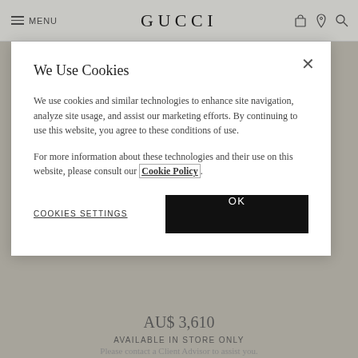MENU | GUCCI
We Use Cookies
We use cookies and similar technologies to enhance site navigation, analyze site usage, and assist our marketing efforts. By continuing to use this website, you agree to these conditions of use.
For more information about these technologies and their use on this website, please consult our Cookie Policy.
COOKIES SETTINGS
OK
AU$ 3,610
AVAILABLE IN STORE ONLY
Please contact a Client Advisor to assist you.
CONTACT US